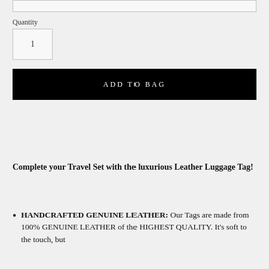Quantity
1
ADD TO BAG
Complete your Travel Set with the luxurious Leather Luggage Tag!
HANDCRAFTED GENUINE LEATHER: Our Tags are made from 100% GENUINE LEATHER of the HIGHEST QUALITY. It's soft to the touch, but